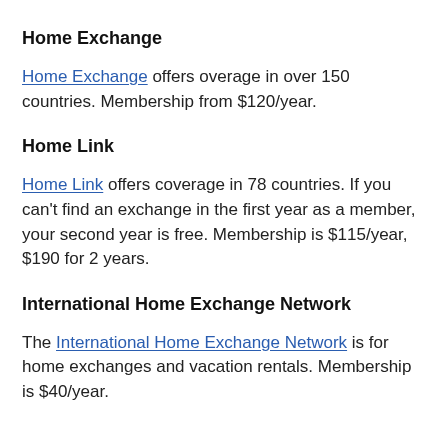Home Exchange
Home Exchange offers overage in over 150 countries. Membership from $120/year.
Home Link
Home Link offers coverage in 78 countries. If you can't find an exchange in the first year as a member, your second year is free. Membership is $115/year, $190 for 2 years.
International Home Exchange Network
The International Home Exchange Network is for home exchanges and vacation rentals. Membership is $40/year.